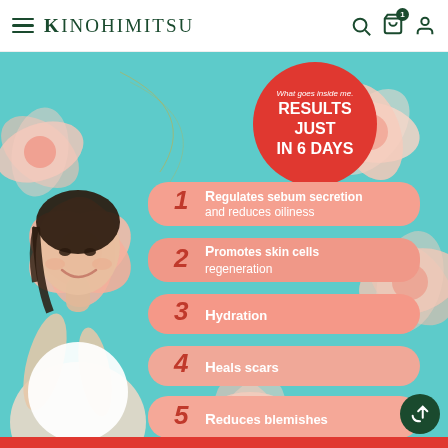Kinohimitsu
[Figure (infographic): Kinohimitsu skincare promotional infographic showing a smiling Asian woman with pink floral background and teal/mint color scheme. Features a red circular badge reading 'What goes inside me. RESULTS JUST IN 6 DAYS'. Lists 5 numbered benefits on pink rounded-rectangle banners: 1. Regulates sebum secretion and reduces oiliness, 2. Promotes skin cells regeneration, 3. Hydration, 4. Heals scars, 5. Reduces blemishes.]